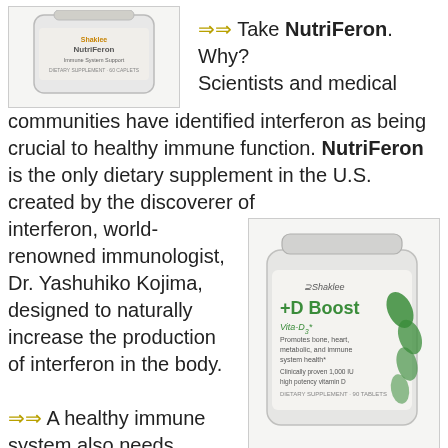[Figure (photo): Shaklee supplement bottle - NutriFeron immune system support caplets, partial view]
⇒⇒ Take NutriFeron. Why? Scientists and medical communities have identified interferon as being crucial to healthy immune function. NutriFeron is the only dietary supplement in the U.S. created by the discoverer of interferon, world-renowned immunologist, Dr. Yashuhiko Kojima, designed to naturally increase the production of interferon in the body.
[Figure (photo): Shaklee +D Boost Vita-D3 supplement bottle - promotes bone, heart, metabolic, and immune system health. Clinically proven 1,000 IU high potency vitamin D3. Dietary supplement 90 tablets.]
⇒⇒ A healthy immune system also needs vitamin D3 which is available for free every sunny day. Vitamin D is unusual in that it is synthesized from sunlight. When sunlight hits your skin, your body manufactures the vitamin D you need to keep your bones and immune system